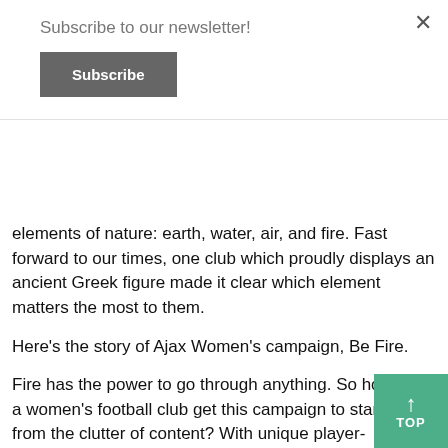Subscribe to our newsletter!
Subscribe
elements of nature: earth, water, air, and fire. Fast forward to our times, one club which proudly displays an ancient Greek figure made it clear which element matters the most to them.
Here's the story of Ajax Women's campaign, Be Fire.
Fire has the power to go through anything. So how does a women's football club get this campaign to stand out from the clutter of content? With unique player-generated storytelling.
The campaign
Launched in January 2020 and split into four parts on the Ajax website (so far) whereas on social each featured player had a